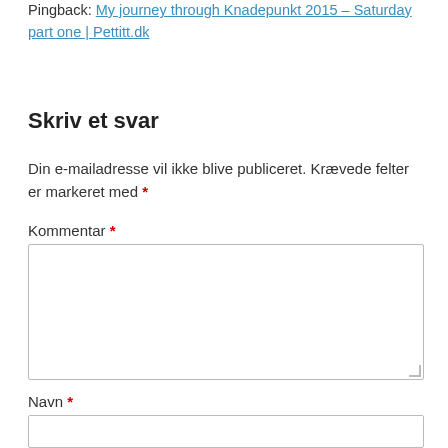Pingback: My journey through Knadepunkt 2015 – Saturday part one | Pettitt.dk
Skriv et svar
Din e-mailadresse vil ikke blive publiceret. Krævede felter er markeret med *
Kommentar *
Navn *